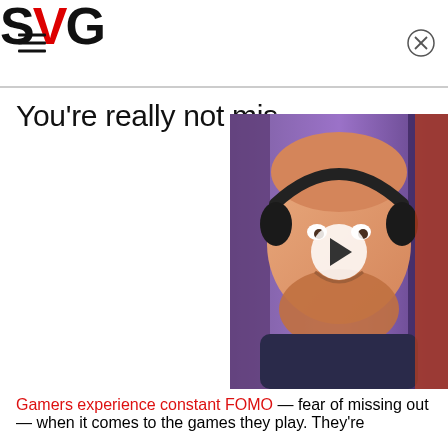SVG
You're really not mis…
[Figure (photo): A man with a red beard wearing black headphones, smiling at the camera against a purple background, with a video play button overlay]
Gamers experience constant FOMO — fear of missing out — when it comes to the games they play. They're